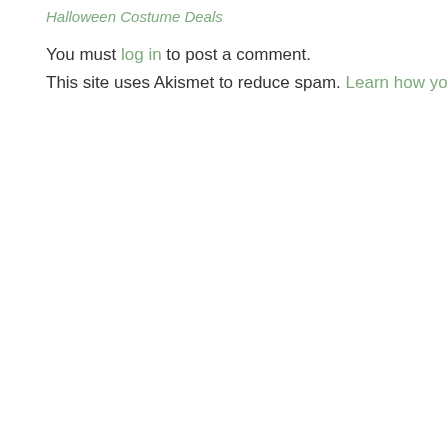Halloween Costume Deals
You must log in to post a comment.
This site uses Akismet to reduce spam. Learn how your comment data is p